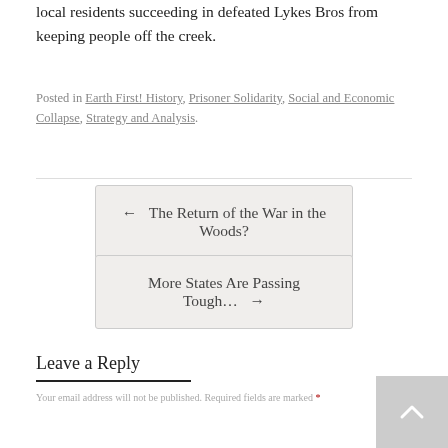local residents succeeding in defeated Lykes Bros from keeping people off the creek.
Posted in Earth First! History, Prisoner Solidarity, Social and Economic Collapse, Strategy and Analysis.
← The Return of the War in the Woods?
More States Are Passing Tough… →
Leave a Reply
Your email address will not be published. Required fields are marked *